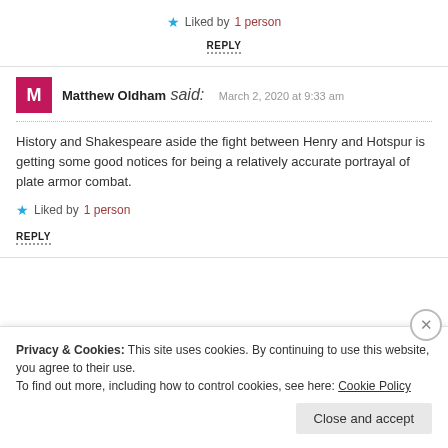Liked by 1 person
REPLY
Matthew Oldham said: March 2, 2020 at 9:33 am
History and Shakespeare aside the fight between Henry and Hotspur is getting some good notices for being a relatively accurate portrayal of plate armor combat.
Liked by 1 person
REPLY
Privacy & Cookies: This site uses cookies. By continuing to use this website, you agree to their use.
To find out more, including how to control cookies, see here: Cookie Policy
Close and accept